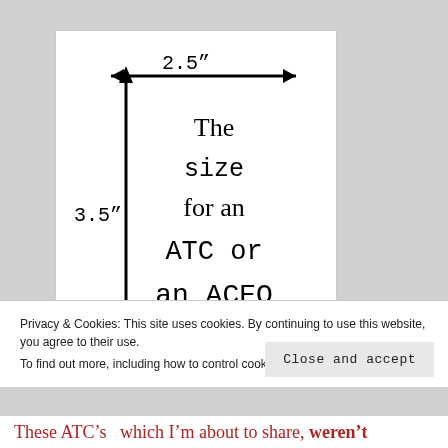[Figure (illustration): A diagram showing the size of an ATC or ACEO card. A horizontal double-headed arrow is labeled '2.5"' across the top, and a vertical line on the left is labeled '3.5"'. Inside the card area, text reads 'The size for an ATC or an ACEO' in mixed typewriter and serif fonts.]
Privacy & Cookies: This site uses cookies. By continuing to use this website, you agree to their use.
To find out more, including how to control cookies, see here: Cookie Policy
Close and accept
These ATC's  which I'm about to share, weren't